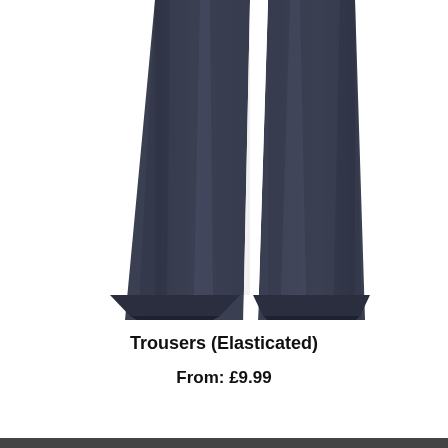[Figure (photo): Product photo showing the lower legs and hems of a pair of dark navy elasticated trousers on a white background, viewed from the front.]
Trousers (Elasticated)
From: £9.99